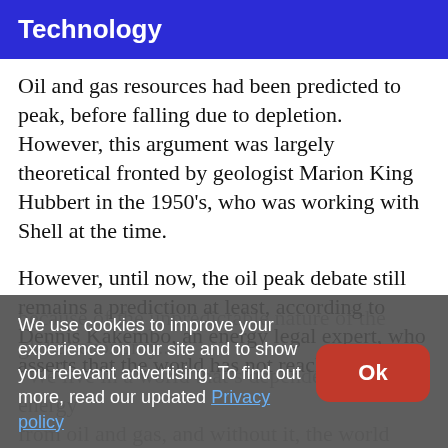Technology
Oil and gas resources had been predicted to peak, before falling due to depletion. However, this argument was largely theoretical fronted by geologist Marion King Hubbert in the 1950's, who was working with Shell at the time.
However, until now, the oil peak debate still remains a prediction at least, according to Dennis Kakembo, an energy legal expert, who asserts that the world has not reached the peak
because of the unpredictable nature of the global economy... "We live in a world that's dependent on energy from oil and gas, and without it, the world
We use cookies to improve your experience on our site and to show you relevant advertising. To find out more, read our updated Privacy policy